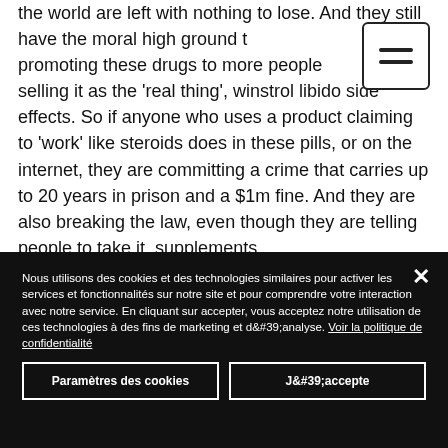the world are left with nothing to lose. And they still have the moral high ground to promoting these drugs to more people, selling it as the 'real thing', winstrol libido side effects. So if anyone who uses a product claiming to 'work' like steroids does in these pills, or on the internet, they are committing a crime that carries up to 20 years in prison and a $1m fine. And they are also breaking the law, even though they are telling people to take it, supplements
Nous utilisons des cookies et des technologies similaires pour activer les services et fonctionnalités sur notre site et pour comprendre votre interaction avec notre service. En cliquant sur accepter, vous acceptez notre utilisation de ces technologies à des fins de marketing et d&#39;analyse. Voir la politique de confidentialité